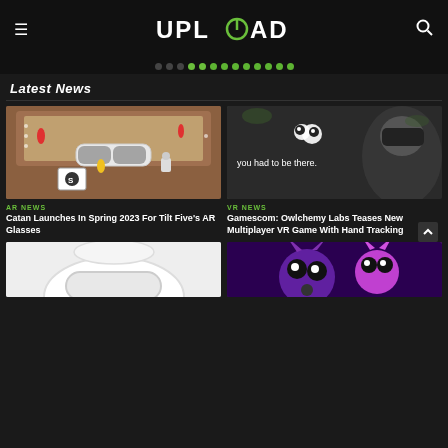UPLOAD
Latest News
[Figure (photo): AR glasses (Tilt Five) on a board game table with small figurines and game cards]
AR NEWS
Catan Launches In Spring 2023 For Tilt Five's AR Glasses
[Figure (photo): Owlchemy Labs VR game teaser image showing 'you had to be there.' text with owl logo and person wearing VR headset]
VR NEWS
Gamescom: Owlchemy Labs Teases New Multiplayer VR Game With Hand Tracking
[Figure (photo): White VR headset partially visible at bottom of page]
[Figure (photo): Colorful monster character art, purple and pink, partially visible at bottom of page]